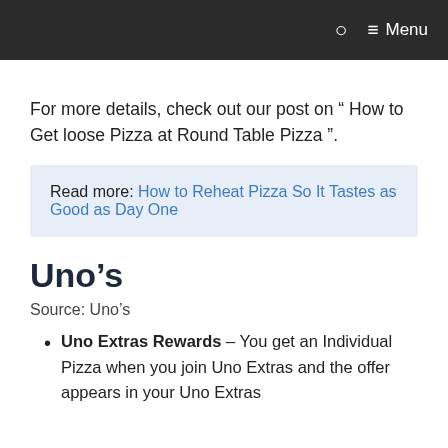Menu
For more details, check out our post on “ How to Get loose Pizza at Round Table Pizza ”.
Read more: How to Reheat Pizza So It Tastes as Good as Day One
Uno’s
Source: Uno’s
Uno Extras Rewards – You get an Individual Pizza when you join Uno Extras and the offer appears in your Uno Extras